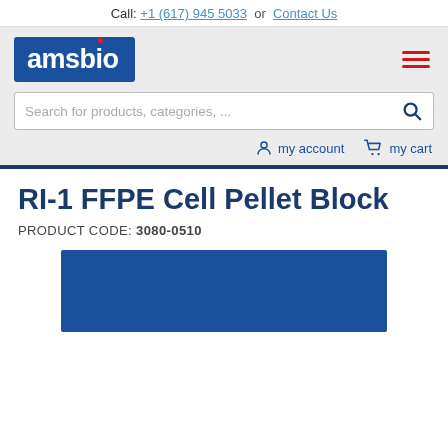Call: +1 (617) 945 5033 or Contact Us
[Figure (logo): amsbio logo — white text on dark blue background with red dot above the 'i']
[Figure (other): Hamburger menu icon — three red horizontal lines]
Search for products, categories, ...
my account
my cart
RI-1 FFPE Cell Pellet Block
PRODUCT CODE: 3080-0510
[Figure (photo): Blue rectangle — product image placeholder]